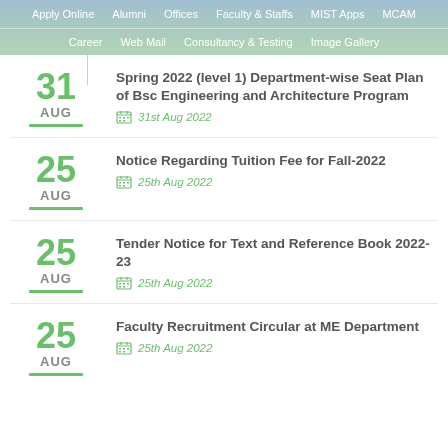Apply Online | Alumni | Offices | Faculty & Staffs | MIST Apps | MCAM | Career | Web Mail | Consultancy & Testing | Image Gallery
31 AUG — Spring 2022 (level 1) Department-wise Seat Plan of Bsc Engineering and Architecture Program — 31st Aug 2022
25 AUG — Notice Regarding Tuition Fee for Fall-2022 — 25th Aug 2022
25 AUG — Tender Notice for Text and Reference Book 2022-23 — 25th Aug 2022
25 AUG — Faculty Recruitment Circular at ME Department — 25th Aug 2022